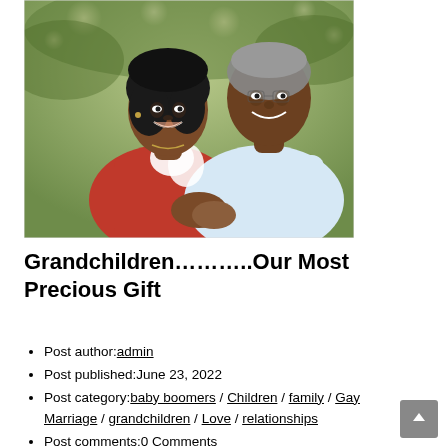[Figure (photo): A smiling Black couple dancing together outdoors, woman in red top, man in light blue shirt, bokeh background with lights]
Grandchildren………..Our Most Precious Gift
Post author: admin
Post published: June 23, 2022
Post category: baby boomers / Children / family / Gay Marriage / grandchildren / Love / relationships
Post comments: 0 Comments